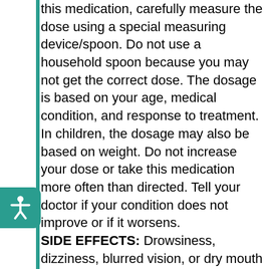this medication, carefully measure the dose using a special measuring device/spoon. Do not use a household spoon because you may not get the correct dose. The dosage is based on your age, medical condition, and response to treatment. In children, the dosage may also be based on weight. Do not increase your dose or take this medication more often than directed. Tell your doctor if your condition does not improve or if it worsens. SIDE EFFECTS: Drowsiness, dizziness, blurred vision, or dry mouth may occur. If any of these effects persist or worsen, tell your doctor or pharmacist promptly. To relieve dry mouth, suck (sugarless) hard candy or ice chips, chew (sugarless) gum, drink water, or use a saliva substitute. Remember that your doctor has prescribed this medication because he or she has judged that the benefit to you is greater than the risk of side effects. Many people using this medication do not have serious side effects. Tell your doctor right away if you have any serious side effects, including: mental/mood changes (such as restlessness, confusion, hallucinations), shaking (tremor), difficulty urinating, fast/irregular heartbeat.